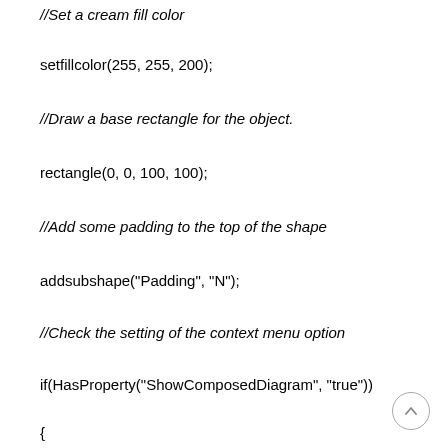//Set a cream fill color
setfillcolor(255, 255, 200);
//Draw a base rectangle for the object.
rectangle(0, 0, 100, 100);
//Add some padding to the top of the shape
addsubshape("Padding", "N");
//Check the setting of the context menu option
if(HasProperty("ShowComposedDiagram", "true"))
{